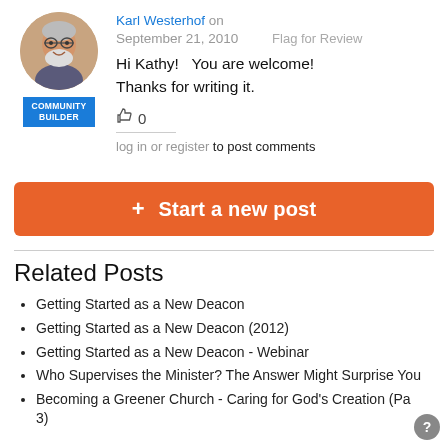Karl Westerhof on September 21, 2010 — Flag for Review
[Figure (photo): Circular avatar photo of Karl Westerhof, an older man with glasses and white beard, smiling, with a blue 'Community Builder' badge below]
Hi Kathy!   You are welcome!  Thanks for writing it.
👍 0
log in or register to post comments
+ Start a new post
Related Posts
Getting Started as a New Deacon
Getting Started as a New Deacon (2012)
Getting Started as a New Deacon - Webinar
Who Supervises the Minister? The Answer Might Surprise You
Becoming a Greener Church - Caring for God's Creation (Pa 3)